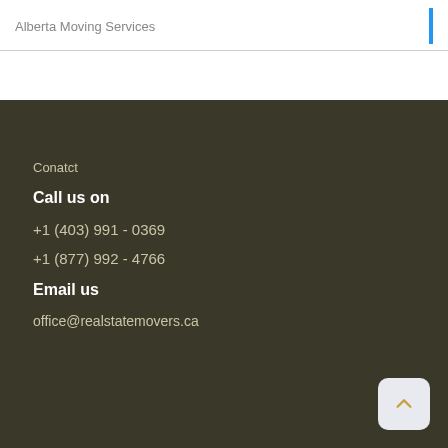Alberta Moving Services
Conatct
Call us on
+1 (403) 991 - 0369
+1 (877) 992 - 4766
Email us
office@realestatemovers.ca